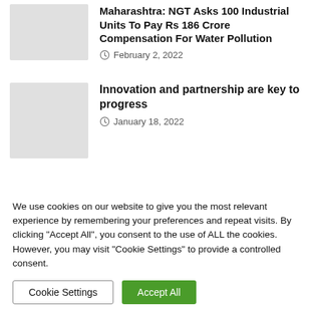Maharashtra: NGT Asks 100 Industrial Units To Pay Rs 186 Crore Compensation For Water Pollution
February 2, 2022
[Figure (photo): Thumbnail image placeholder for first article]
Innovation and partnership are key to progress
January 18, 2022
[Figure (photo): Thumbnail image placeholder for second article]
We use cookies on our website to give you the most relevant experience by remembering your preferences and repeat visits. By clicking "Accept All", you consent to the use of ALL the cookies. However, you may visit "Cookie Settings" to provide a controlled consent.